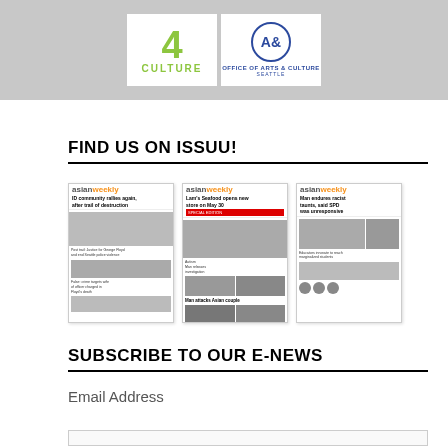[Figure (logo): Sponsor logos: 4Culture and Office of Arts & Culture Seattle on grey background]
FIND US ON ISSUU!
[Figure (photo): Three Asian Weekly newspaper front page thumbnails displayed side by side on Issuu]
SUBSCRIBE TO OUR E-NEWS
Email Address